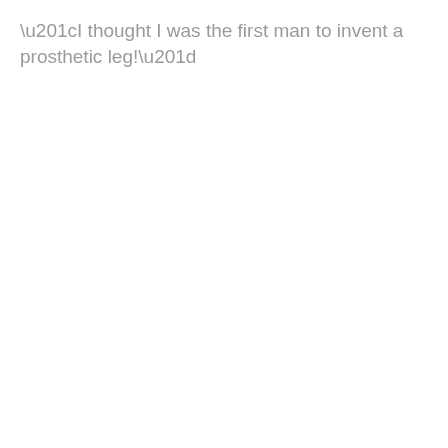“I thought I was the first man to invent a prosthetic leg!”